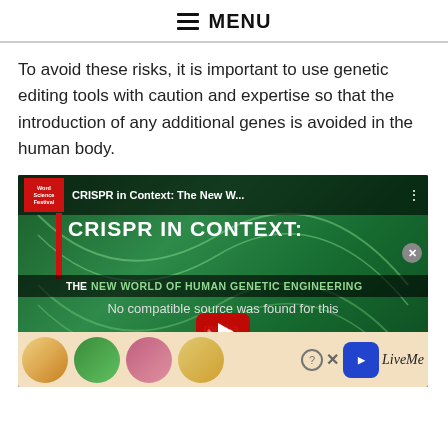MENU
To avoid these risks, it is important to use genetic editing tools with caution and expertise so that the introduction of any additional genes is avoided in the human body.
[Figure (screenshot): YouTube video thumbnail for 'CRISPR in Context: The New World of Human Genetic Engineering' by World Science Festival. Shows green DNA background with bold white text 'CRISPR IN CONTEXT:' and 'THE NEW WORLD OF HUMAN GENETIC ENGINEERING'. A YouTube play button is visible in the center. Text overlay reads 'No compatible source was found for this media.' An advertisement banner with circular profile images and LiveMe logo appears at the bottom.]